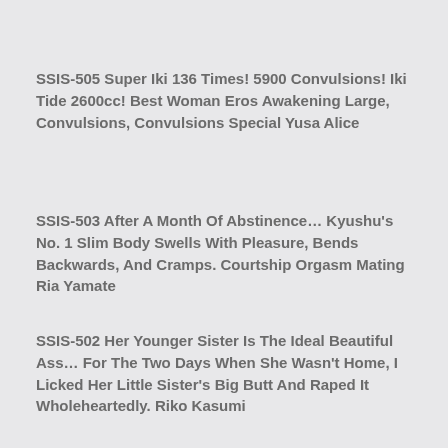SSIS-505 Super Iki 136 Times! 5900 Convulsions! Iki Tide 2600cc! Best Woman Eros Awakening Large, Convulsions, Convulsions Special Yusa Alice
SSIS-503 After A Month Of Abstinence… Kyushu's No. 1 Slim Body Swells With Pleasure, Bends Backwards, And Cramps. Courtship Orgasm Mating Ria Yamate
SSIS-502 Her Younger Sister Is The Ideal Beautiful Ass… For The Two Days When She Wasn't Home, I Licked Her Little Sister's Big Butt And Raped It Wholeheartedly. Riko Kasumi